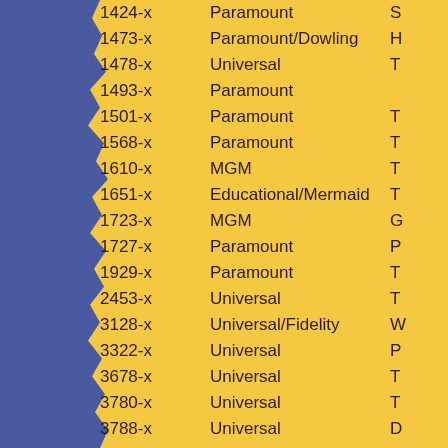| ID | Studio | Title (partial) |
| --- | --- | --- |
| 1424-x | Paramount | S |
| 1473-x | Paramount/Dowling | H |
| 1478-x | Universal | T |
| 1493-x | Paramount |  |
| 1501-x | Paramount | T |
| 1568-x | Paramount | T |
| 1610-x | MGM | T |
| 1651-x | Educational/Mermaid | T |
| 1723-x | MGM | G |
| 1727-x | Paramount | P |
| 1929-x | Paramount | T |
| 2453-x | Universal | T |
| 3128-x | Universal/Fidelity | W |
| 3322-x | Universal | P |
| 3678-x | Universal | T |
| 3780-x | Universal | T |
| 3788-x | Universal | D |
| 3789-x | Universal | P |
| 3939-x | Universal |  |